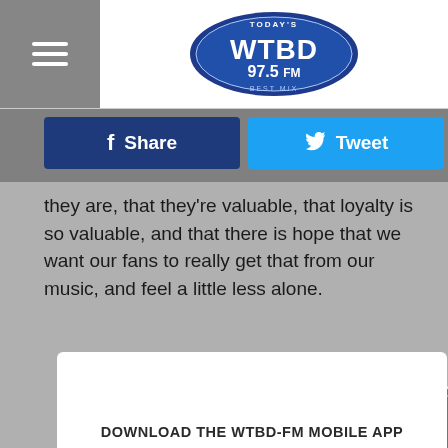[Figure (logo): WTBD 97.5 FM radio station logo — blue badge shape with 'TODAY'S WTBD 97.5 FM BEST MIX' text]
Share
Tweet
they are, that they're valuable, that loyalty is so valuable, and that there is hope that we want our fans to really get that from our music, and feel a little less alone.
[Figure (logo): WTBD 97.5 FM watermark logo overlay on article text]
DOWNLOAD THE WTBD-FM MOBILE APP
GET OUR FREE MOBILE APP